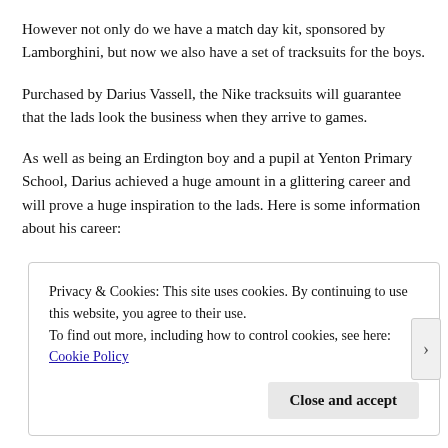However not only do we have a match day kit, sponsored by Lamborghini, but now we also have a set of tracksuits for the boys.
Purchased by Darius Vassell, the Nike tracksuits will guarantee that the lads look the business when they arrive to games.
As well as being an Erdington boy and a pupil at Yenton Primary School, Darius achieved a huge amount in a glittering career and will prove a huge inspiration to the lads. Here is some information about his career:
Privacy & Cookies: This site uses cookies. By continuing to use this website, you agree to their use.
To find out more, including how to control cookies, see here: Cookie Policy